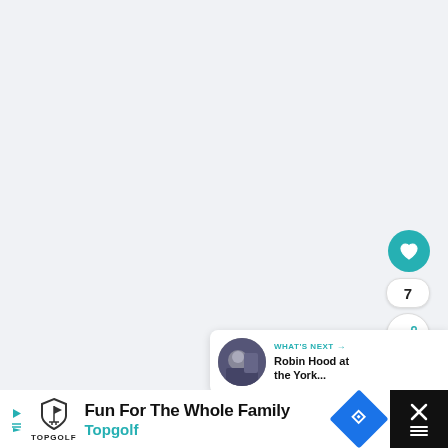[Figure (screenshot): Light gray main content area of a webpage or app]
[Figure (infographic): Teal heart/like button circle icon]
7
[Figure (infographic): White share button circle with share icon]
[Figure (infographic): What's Next card with thumbnail of Robin Hood at the York... with teal arrow label]
[Figure (infographic): Advertisement bar at bottom: Topgolf - Fun For The Whole Family with play, logo, headline, CTA button and close X button]